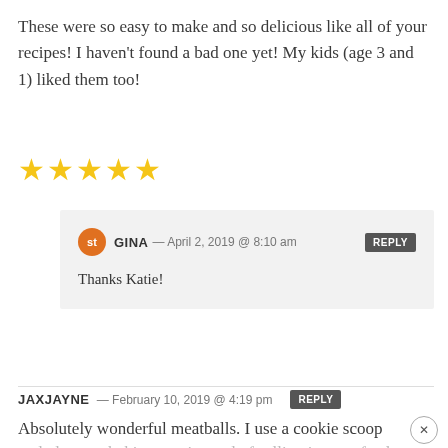These were so easy to make and so delicious like all of your recipes! I haven't found a bad one yet! My kids (age 3 and 1) liked them too!
[Figure (other): Five gold star rating icons]
GINA — April 2, 2019 @ 8:10 am   REPLY
Thanks Katie!
JAXJAYNE — February 10, 2019 @ 4:19 pm   REPLY
Absolutely wonderful meatballs. I use a cookie scoop and place on baking pan instead of rolling into perfectly round meatballs. I have used just a pound of ground